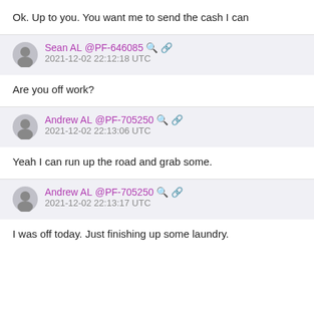Ok. Up to you. You want me to send the cash I can
Sean AL @PF-646085 2021-12-02 22:12:18 UTC
Are you off work?
Andrew AL @PF-705250 2021-12-02 22:13:06 UTC
Yeah I can run up the road and grab some.
Andrew AL @PF-705250 2021-12-02 22:13:17 UTC
I was off today. Just finishing up some laundry.